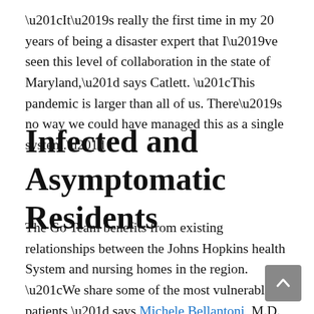“It’s really the first time in my 20 years of being a disaster expert that I’ve seen this level of collaboration in the state of Maryland,” says Catlett. “This pandemic is larger than all of us. There’s no way we could have managed this as a single system.”
Infected and Asymptomatic Residents
The Go Team benefits from existing relationships between the Johns Hopkins health System and nursing homes in the region. “We share some of the most vulnerable patients,” says Michele Bellantoni, M.D., clinical director of the Division of Geriatric Medicine and Gerontology at the Johns Hopkins University School of Medicine. “Having the ability to work together is